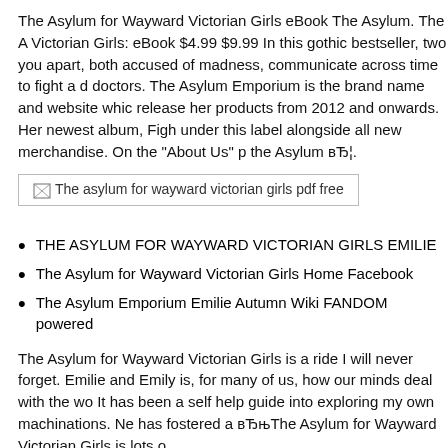The Asylum for Wayward Victorian Girls eBook The Asylum. The A Victorian Girls: eBook $4.99 $9.99 In this gothic bestseller, two you apart, both accused of madness, communicate across time to fight a d doctors. The Asylum Emporium is the brand name and website whic release her products from 2012 and onwards. Her newest album, Figh under this label alongside all new merchandise. On the "About Us" p the Asylum вЂ¦.
[Figure (other): Broken image placeholder with alt text: The asylum for wayward victorian girls pdf free]
THE ASYLUM FOR WAYWARD VICTORIAN GIRLS EMILI
The Asylum for Wayward Victorian Girls Home Facebook
The Asylum Emporium Emilie Autumn Wiki FANDOM powered
The Asylum for Wayward Victorian Girls is a ride I will never forget. Emilie and Emily is, for many of us, how our minds deal with the wo It has been a self help guide into exploring my own machinations. Ne has fostered a вЂњThe Asylum for Wayward Victorian Girls is lots o